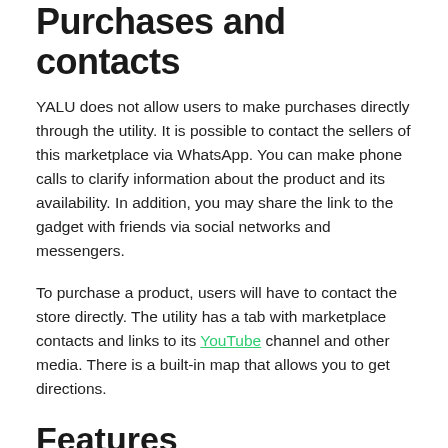Purchases and contacts
YALU does not allow users to make purchases directly through the utility. It is possible to contact the sellers of this marketplace via WhatsApp. You can make phone calls to clarify information about the product and its availability. In addition, you may share the link to the gadget with friends via social networks and messengers.
To purchase a product, users will have to contact the store directly. The utility has a tab with marketplace contacts and links to its YouTube channel and other media. There is a built-in map that allows you to get directions.
Features
is a marketplace for selling various consumer electronics;
offers a catalog of new and used gadgets;
contacts, links, and a built-in map are presented;